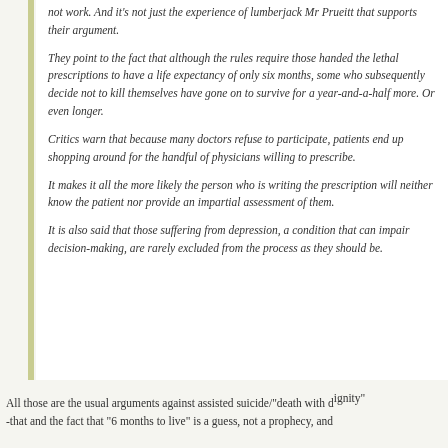not work. And it's not just the experience of lumberjack Mr Prueitt that supports their argument.
They point to the fact that although the rules require those handed the lethal prescriptions to have a life expectancy of only six months, some who subsequently decide not to kill themselves have gone on to survive for a year-and-a-half more. Or even longer.
Critics warn that because many doctors refuse to participate, patients end up shopping around for the handful of physicians willing to prescribe.
It makes it all the more likely the person who is writing the prescription will neither know the patient nor provide an impartial assessment of them.
It is also said that those suffering from depression, a condition that can impair decision-making, are rarely excluded from the process as they should be.
All those are the usual arguments against assisted suicide/"death with dignity" -that and the fact that "6 months to live" is a guess, not a prophecy, and